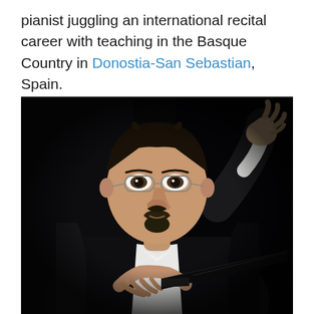pianist juggling an international recital career with teaching in the Basque Country in Donostia-San Sebastian, Spain.
[Figure (photo): A male pianist in formal concert attire (black tuxedo with white bow tie and white dress shirt with cufflinks) seated at a piano, resting his right hand against his head, looking toward the camera. He has dark hair, a goatee, and wire-rimmed glasses. The background is very dark/black.]